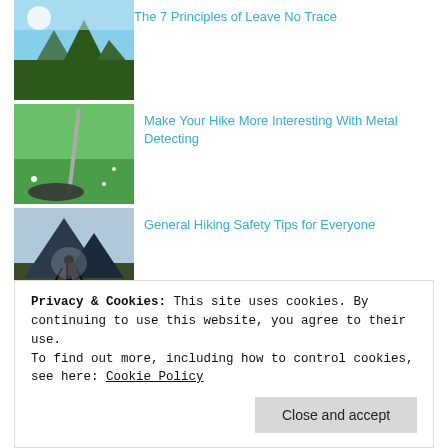[Figure (photo): Woman in floral dress sitting by a mountain lake with turquoise water and forest in background (partially visible at top)]
The 7 Principles of Leave No Trace
[Figure (photo): Metal detector standing upright in a green grassy meadow with wildflowers]
Make Your Hike More Interesting With Metal Detecting
[Figure (photo): Silhouette of hiker with backpack and poles against dramatic mountain sunset sky]
General Hiking Safety Tips for Everyone
[Figure (photo): Close-up of person's hands working with rope or cord and dark fabric]
Things You Can Do During Self-Isolation
Privacy & Cookies: This site uses cookies. By continuing to use this website, you agree to their use.
To find out more, including how to control cookies, see here: Cookie Policy
Close and accept